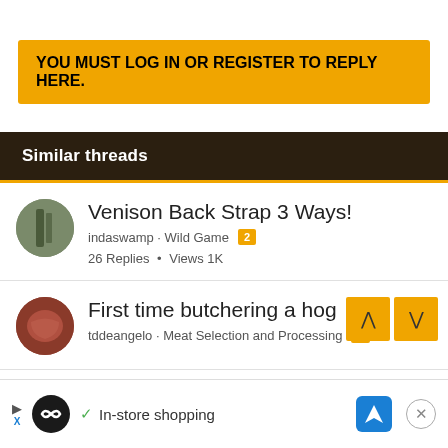YOU MUST LOG IN OR REGISTER TO REPLY HERE.
Similar threads
Venison Back Strap 3 Ways!
indaswamp · Wild Game  2
26 Replies  •  Views 1K
First time butchering a hog
tddeangelo · Meat Selection and Processing  2
✓ In-store shopping